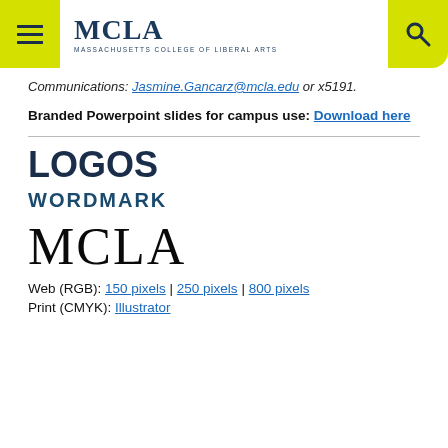MCLA | Massachusetts College of Liberal Arts
Communications: Jasmine.Gancarz@mcla.edu or x5191.
Branded Powerpoint slides for campus use: Download here
LOGOS
WORDMARK
[Figure (logo): MCLA wordmark logo in large serif font]
Web (RGB): 150 pixels | 250 pixels | 800 pixels
Print (CMYK): Illustrator